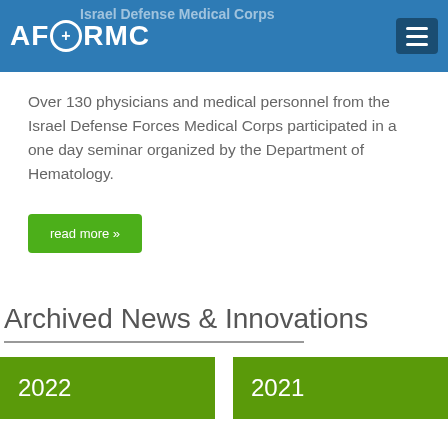AFORMC | Israel Defense Medical Corps
Over 130 physicians and medical personnel from the Israel Defense Forces Medical Corps participated in a one day seminar organized by the Department of Hematology.
read more »
Archived News & Innovations
2022
2021